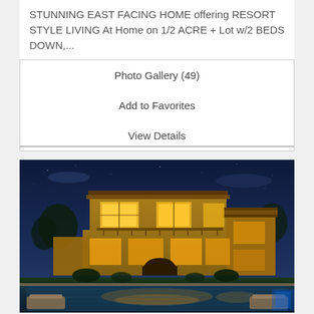STUNNING EAST FACING HOME offering RESORT STYLE LIVING At Home on 1/2 ACRE + Lot w/2 BEDS DOWN,...
| Photo Gallery (49) |
| Add to Favorites |
| View Details |
[Figure (photo): Luxury two-story home photographed at dusk/night with illuminated pool in foreground, warm interior lighting visible through large windows, Mediterranean/Spanish style architecture with stone and stucco exterior, lush landscaping.]